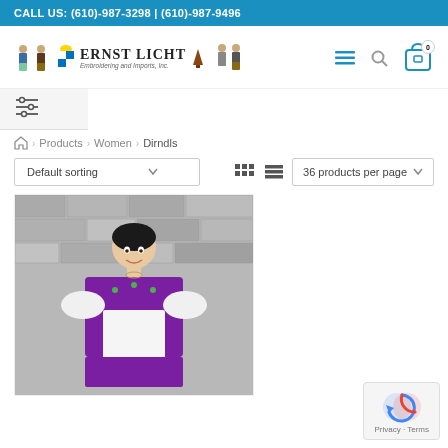CALL US: (610)-987-3298 | (610)-987-9496
[Figure (logo): Ernst Licht Embroidering and Imports Inc. logo with Bavarian figures and crest]
Products > Women > Dirndls
Default sorting
36 products per page
[Figure (photo): Woman wearing a purple and white dirndl dress with white apron, standing in front of a stone wall]
Privacy · Terms